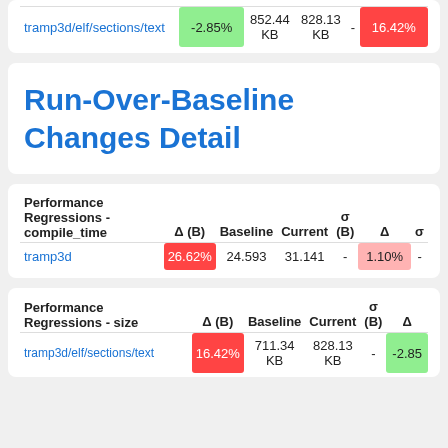|  | Δ (B) | Baseline | Current | - | (-) |
| --- | --- | --- | --- | --- | --- |
| tramp3d/elf/sections/text | -2.85% | 852.44 KB | 828.13 KB | - | 16.42% |
Run-Over-Baseline Changes Detail
| Performance Regressions - compile_time | Δ (B) | Baseline | Current | σ (B) | Δ | σ |
| --- | --- | --- | --- | --- | --- | --- |
| tramp3d | 26.62% | 24.593 | 31.141 | - | 1.10% | - |
| Performance Regressions - size | Δ (B) | Baseline | Current | σ (B) | Δ |
| --- | --- | --- | --- | --- | --- |
| tramp3d/elf/sections/text | 16.42% | 711.34 KB | 828.13 KB | - | -2.85 |